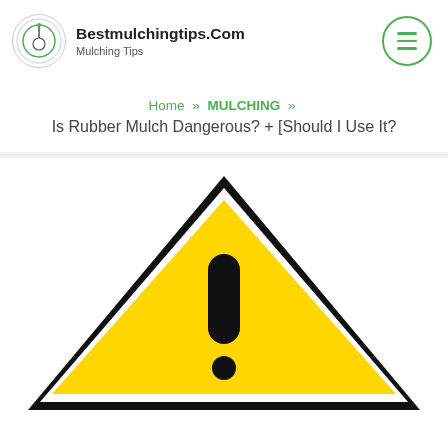Bestmulchingtips.Com — Mulching Tips
Home » MULCHING »
Is Rubber Mulch Dangerous? + [Should I Use It?
[Figure (illustration): Warning triangle sign with yellow background, black border, and black exclamation mark in the center]